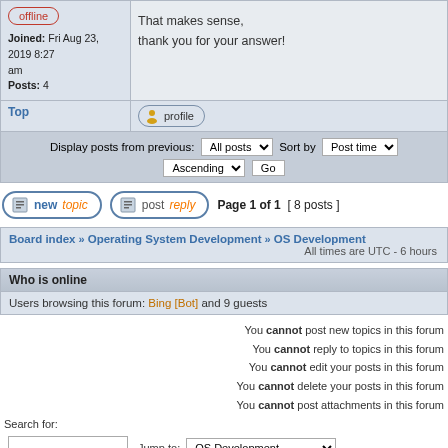| User info | Post content |
| --- | --- |
| offline
Joined: Fri Aug 23, 2019 8:27 am
Posts: 4 | That makes sense,
thank you for your answer! |
Display posts from previous: All posts  Sort by  Post time
Ascending  Go
newtopic  postreply  Page 1 of 1  [ 8 posts ]
Board index » Operating System Development » OS Development
All times are UTC - 6 hours
Who is online
Users browsing this forum: Bing [Bot] and 9 guests
You cannot post new topics in this forum
You cannot reply to topics in this forum
You cannot edit your posts in this forum
You cannot delete your posts in this forum
You cannot post attachments in this forum
Search for:
Jump to: OS Development
Go
Powered by phpBB © 2000, 2002, 2005, 2007 phpBB Group